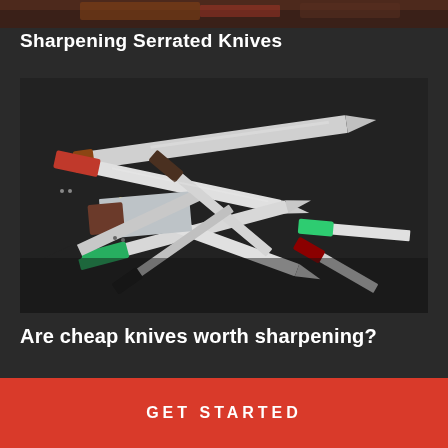[Figure (photo): Partial view of a food/knife related image at the top strip]
Sharpening Serrated Knives
[Figure (photo): A pile of various kitchen knives with colorful handles (red, green, yellow, brown, black) scattered on a dark surface]
Are cheap knives worth sharpening?
GET STARTED